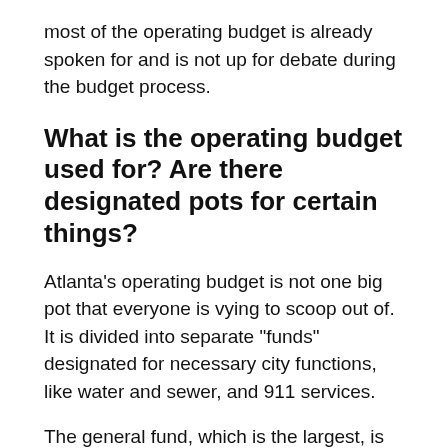most of the operating budget is already spoken for and is not up for debate during the budget process.
What is the operating budget used for? Are there designated pots for certain things?
Atlanta’s operating budget is not one big pot that everyone is vying to scoop out of. It is divided into separate “funds” designated for necessary city functions, like water and sewer, and 911 services.
The general fund, which is the largest, is set at $734.2 million for the upcoming fiscal year. It covers basic city services like police, fire and rescue, parks, and infrastructure. The general